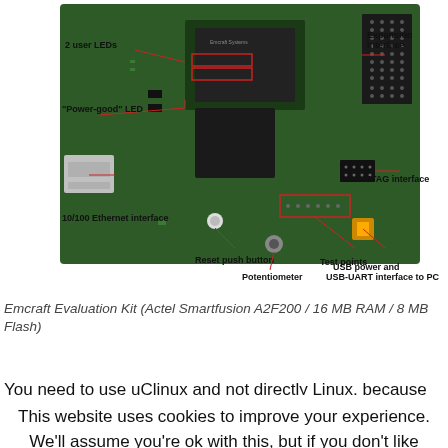[Figure (engineering-diagram): Emcraft Evaluation Kit board photo with annotated labels: 2 user LEDs, Power-good LED, 10/100 Ethernet interface, Reset push button, Potentiometer, Expansion interface, JTAG interface, Test points, USB power and USB-UART interface to PC]
Emcraft Evaluation Kit (Actel Smartfusion A2F200 / 16 MB RAM / 8 MB Flash)
You need to use uClinux and not directly Linux, because the Cortex M3 doess not have a Memory Management
This website uses cookies to improve your experience. We'll assume you're ok with this, but if you don't like these, you can remove them